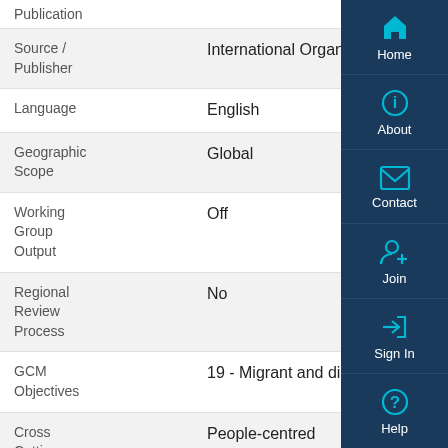Publication
| Field | Value |
| --- | --- |
| Source / Publisher | International Organization for Migration (IO... |
| Language | English |
| Geographic Scope | Global |
| Working Group Output | Off |
| Regional Review Process | No |
| GCM Objectives | 19 - Migrant and diaspora contributions |
| Cross Cutting | People-centred
Whole-of-government approach |